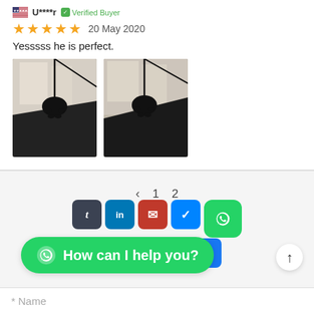U****r  ✓ Verified Buyer
20 May 2020
Yesssss he is perfect.
[Figure (photo): Two photos of a dark decorative car accessory (animal silhouette charm) hanging from a rearview mirror, photographed from below against a building background.]
‹  1  2
[Figure (infographic): Social media share buttons: Tumblr, LinkedIn, Mail, Messenger, WhatsApp]
How can I help you?
* Name